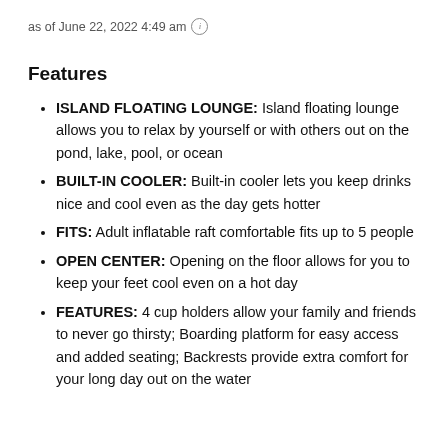as of June 22, 2022 4:49 am ⓘ
Features
ISLAND FLOATING LOUNGE: Island floating lounge allows you to relax by yourself or with others out on the pond, lake, pool, or ocean
BUILT-IN COOLER: Built-in cooler lets you keep drinks nice and cool even as the day gets hotter
FITS: Adult inflatable raft comfortable fits up to 5 people
OPEN CENTER: Opening on the floor allows for you to keep your feet cool even on a hot day
FEATURES: 4 cup holders allow your family and friends to never go thirsty; Boarding platform for easy access and added seating; Backrests provide extra comfort for your long day out on the water